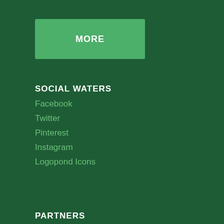MORE
SOCIAL WATERS
Facebook
Twitter
Pinterest
Instagram
Logopond Icons
PARTNERS
This website uses cookies to ensure you get the best experience on our website.
Learn more
Search for
1.  THE GREEN MILE